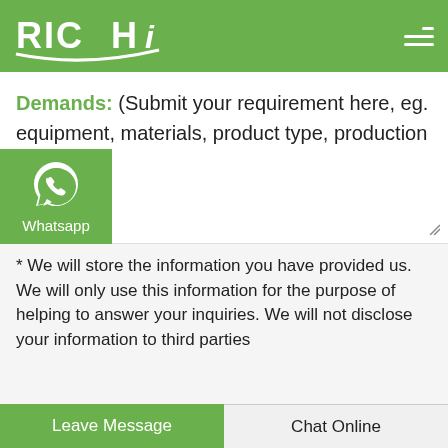[Figure (logo): RICHI company logo in white text on green background header, with hamburger menu icon on the right]
Demands: (Submit your requirement here, eg. equipment, materials, product type, production size, etc.)
[Figure (logo): WhatsApp icon widget with green background and Whatsapp label]
* We will store the information you have provided us. We will only use this information for the purpose of helping to answer your inquiries. We will not disclose your information to third parties
Leave Message    Chat Online